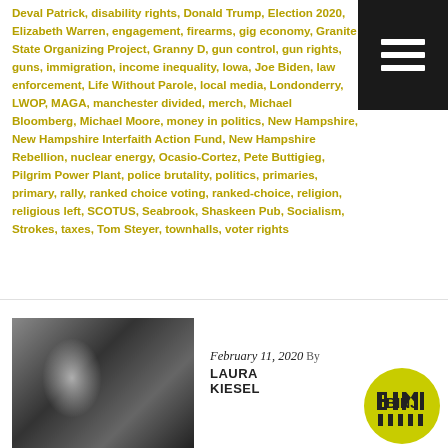Deval Patrick, disability rights, Donald Trump, Election 2020, Elizabeth Warren, engagement, firearms, gig economy, Granite State Organizing Project, Granny D, gun control, gun rights, guns, immigration, income inequality, Iowa, Joe Biden, law enforcement, Life Without Parole, local media, Londonderry, LWOP, MAGA, manchester divided, merch, Michael Bloomberg, Michael Moore, money in politics, New Hampshire, New Hampshire Interfaith Action Fund, New Hampshire Rebellion, nuclear energy, Ocasio-Cortez, Pete Buttigieg, Pilgrim Power Plant, police brutality, politics, primaries, primary, rally, ranked choice voting, ranked-choice, religion, religious left, SCOTUS, Seabrook, Shaskeen Pub, Socialism, Strokes, taxes, Tom Steyer, townhalls, voter rights
[Figure (photo): Black and white photo of a person at a public event, with bright stage lighting visible]
[Figure (logo): BINJ circular logo with yellow-green background and block letter text BINJ with fence-post style legs beneath]
February 11, 2020  By  LAURA KIESEL